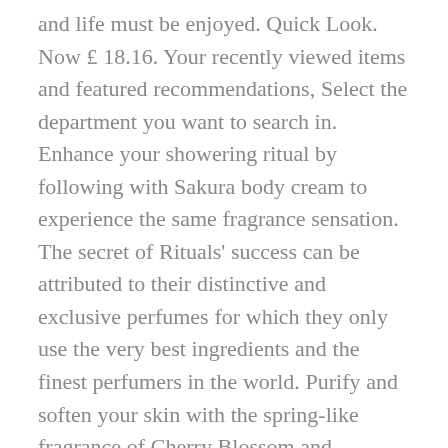and life must be enjoyed. Quick Look. Now £ 18.16. Your recently viewed items and featured recommendations, Select the department you want to search in. Enhance your showering ritual by following with Sakura body cream to experience the same fragrance sensation. The secret of Rituals' success can be attributed to their distinctive and exclusive perfumes for which they only use the very best ingredients and the finest perfumers in the world. Purify and soften your skin with the spring-like fragrance of Cherry Blossom and nourishing organic Rice Milk. Ultra nurturing, silky-soft cleansing foam with a delicate, sweet fragrance. SAVE 30%. Napište nám . Condition is new however some damage to box - very dirty and scuffed (see photos). 110 kr . Výrobce Rituals ... e-shop@rituals.cz: Pondělí - Pátek: 07:00 - 15:30. We're making a substantial effort to reduce the